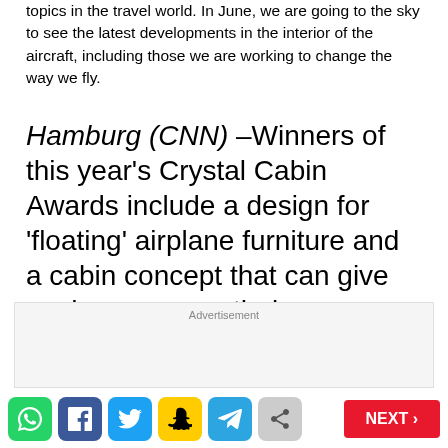topics in the travel world. In June, we are going to the sky to see the latest developments in the interior of the aircraft, including those we are working to change the way we fly.
Hamburg (CNN) –Winners of this year's Crystal Cabin Awards include a design for 'floating' airplane furniture and a cabin concept that can give each passenger their own personal fridge.
Advertisement
The prestigious aviation awards were
[Figure (other): Social media sharing bar with WhatsApp, Facebook, Twitter, Snapchat, Telegram, Share buttons and a red NEXT button]